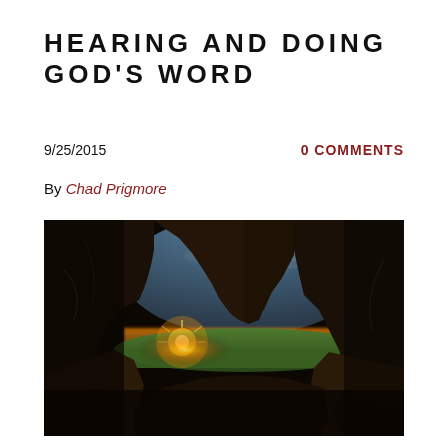HEARING AND DOING GOD'S WORD
9/25/2015
0 COMMENTS
By Chad Prigmore
[Figure (photo): View from inside a dark cave looking out through a cross-shaped opening in the rock toward a sunset over a green field, with dramatic cloudy sky.]